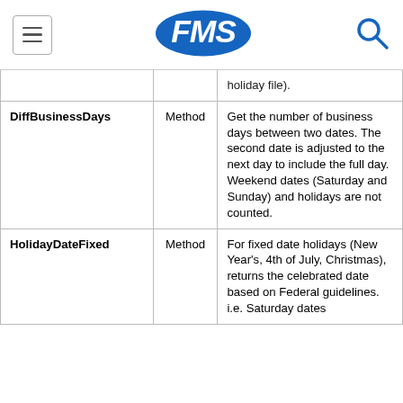FMS
|  |  |  |
| --- | --- | --- |
|  |  | holiday file). |
| DiffBusinessDays | Method | Get the number of business days between two dates. The second date is adjusted to the next day to include the full day. Weekend dates (Saturday and Sunday) and holidays are not counted. |
| HolidayDateFixed | Method | For fixed date holidays (New Year's, 4th of July, Christmas), returns the celebrated date based on Federal guidelines. i.e. Saturday dates |